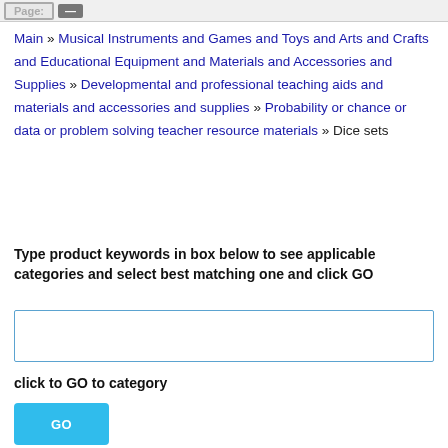Page: —
Main » Musical Instruments and Games and Toys and Arts and Crafts and Educational Equipment and Materials and Accessories and Supplies » Developmental and professional teaching aids and materials and accessories and supplies » Probability or chance or data or problem solving teacher resource materials » Dice sets
Type product keywords in box below to see applicable categories and select best matching one and click GO
click to GO to category